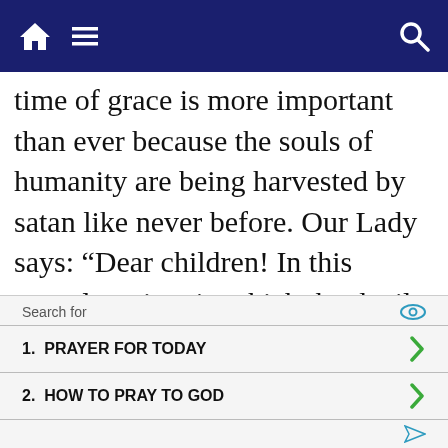Navigation bar with home, menu, and search icons
time of grace is more important than ever because the souls of humanity are being harvested by satan like never before. Our Lady says: “Dear children! In this peaceless time in which the devil is harvesting souls to draw them to himself, I am calling you to persevering
[Figure (screenshot): Advertisement block with 'Search for' label and eye icon, two list items: 1. PRAYER FOR TODAY with green arrow, 2. HOW TO PRAY TO GOD with green arrow, and a send icon at bottom right]